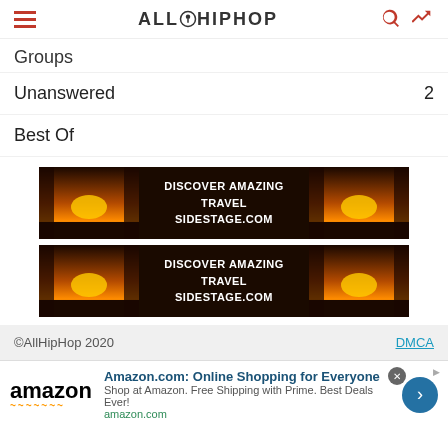AllHipHop
Groups
Unanswered  2
Best Of
[Figure (infographic): Advertisement banner: Discover Amazing Travel SideStage.com with sunset landscape images on left and right]
[Figure (infographic): Advertisement banner: Discover Amazing Travel SideStage.com with sunset landscape images on left and right]
©AllHipHop 2020   DMCA
[Figure (infographic): Amazon advertisement bar: Amazon.com: Online Shopping for Everyone. Shop at Amazon. Free Shipping with Prime. Best Deals Ever! amazon.com]